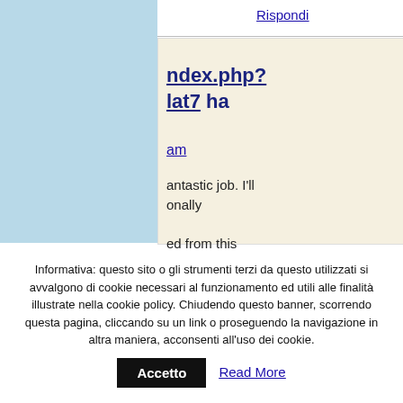Rispondi
ndex.php? lat7 ha
am
antastic job. I'll onally
ed from this
Informativa: questo sito o gli strumenti terzi da questo utilizzati si avvalgono di cookie necessari al funzionamento ed utili alle finalità illustrate nella cookie policy. Chiudendo questo banner, scorrendo questa pagina, cliccando su un link o proseguendo la navigazione in altra maniera, acconsenti all'uso dei cookie.
Accetto
Read More